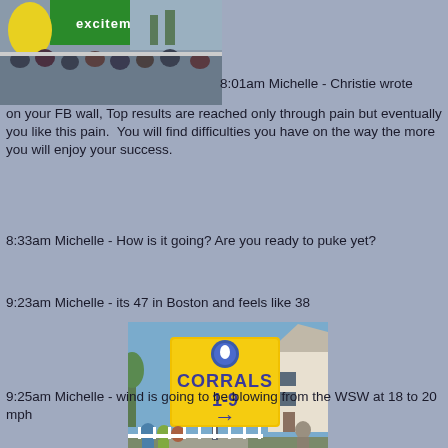[Figure (photo): Photo collage of marathon crowd with green excitement banner at top, and another crowd photo below]
8:01am Michelle - Christie wrote on your FB wall, Top results are reached only through pain but eventually you like this pain.  You will find difficulties you have on the way the more you will enjoy your success.
8:33am Michelle - How is it going? Are you ready to puke yet?
9:23am Michelle - its 47 in Boston and feels like 38
[Figure (photo): Yellow Boston Marathon road sign reading CORRALS 1-9 with arrow pointing right, runners and house in background]
9:25am Michelle - wind is going to be blowing from the WSW at 18 to 20 mph